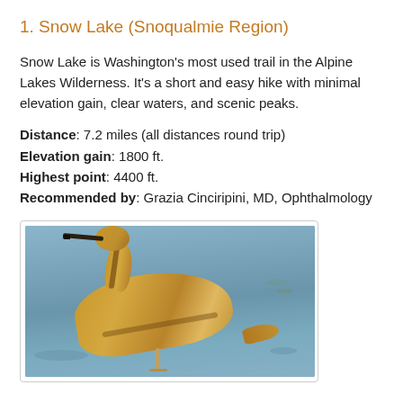1. Snow Lake (Snoqualmie Region)
Snow Lake is Washington's most used trail in the Alpine Lakes Wilderness. It's a short and easy hike with minimal elevation gain, clear waters, and scenic peaks.
Distance: 7.2 miles (all distances round trip)
Elevation gain: 1800 ft.
Highest point: 4400 ft.
Recommended by: Grazia Cinciripini, MD, Ophthalmology
[Figure (photo): A golden/buff-colored bird (likely a squacco heron or bittern) wading in shallow water, viewed from the side, with a long dark beak pointing left.]